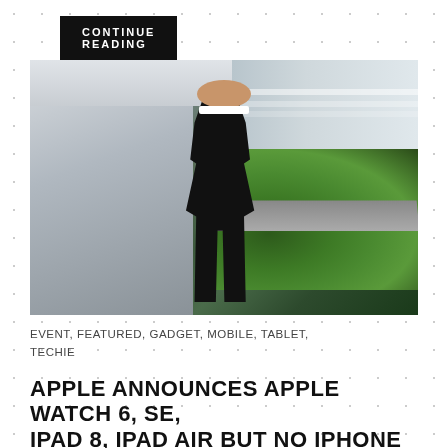CONTINUE READING
[Figure (photo): A man in a black sweater standing in front of a large glass window overlooking a green campus with trees, a curved road, and a modern building facade — Apple Park event presentation]
EVENT, FEATURED, GADGET, MOBILE, TABLET, TECHIE
APPLE ANNOUNCES APPLE WATCH 6, SE, IPAD 8, IPAD AIR BUT NO IPHONE